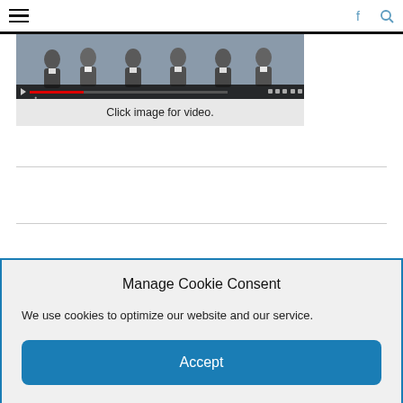Navigation bar with hamburger menu, Facebook and Search icons
[Figure (screenshot): Video thumbnail showing several men in suits/formal wear, with a red progress bar and video player controls at the bottom]
Click image for video.
Manage Cookie Consent
We use cookies to optimize our website and our service.
Accept